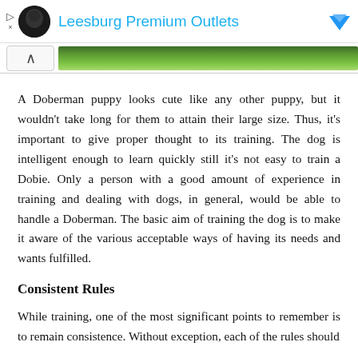[Figure (screenshot): Advertisement bar for Leesburg Premium Outlets with logo, title in blue, and navigation arrow icon on the right]
[Figure (photo): Collapse/chevron button on the left and a green grass strip banner image on the right]
A Doberman puppy looks cute like any other puppy, but it wouldn't take long for them to attain their large size. Thus, it's important to give proper thought to its training. The dog is intelligent enough to learn quickly still it's not easy to train a Dobie. Only a person with a good amount of experience in training and dealing with dogs, in general, would be able to handle a Doberman. The basic aim of training the dog is to make it aware of the various acceptable ways of having its needs and wants fulfilled.
Consistent Rules
While training, one of the most significant points to remember is to remain consistence. Without exception, each of the rules should